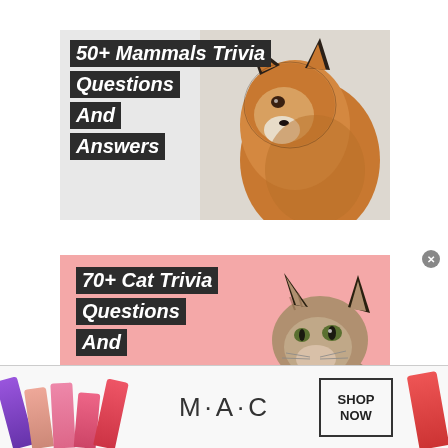[Figure (illustration): Thumbnail card showing a red fox portrait on grey background with bold white text on dark banners reading '50+ Mammals Trivia Questions And Answers']
50+ Mammals Trivia Questions And Answers
[Figure (illustration): Thumbnail card showing a tabby cat looking up on pink background with bold white text on dark banners reading '70+ Cat Trivia Questions And']
70+ Cat Trivia Questions And
[Figure (infographic): MAC cosmetics advertisement banner with lipsticks on left and right, MAC logo in center, SHOP NOW button in bordered box]